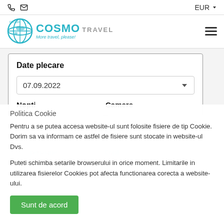EUR
[Figure (logo): Cosmo Travel logo with globe icon, text 'COSMO TRAVEL', tagline 'More travel, please!' and 'DIN 2004']
Date plecare
07.09.2022
Nopti   Camere
Politica Cookie
Pentru a se putea accesa website-ul sunt folosite fisiere de tip Cookie. Dorim sa va informam ce astfel de fisiere sunt stocate in website-ul Dvs.
Puteti schimba setarile browserului in orice moment. Limitarile in utilizarea fisierelor Cookies pot afecta functionarea corecta a website-ului.
Sunt de acord